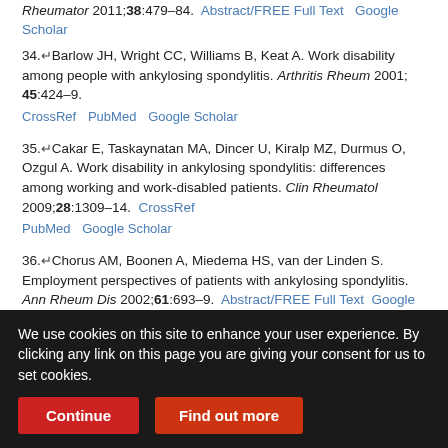Rheumator 2011;38:479–84. Abstract/FREE Full Text Google Scholar
34. Barlow JH, Wright CC, Williams B, Keat A. Work disability among people with ankylosing spondylitis. Arthritis Rheum 2001; 45:424–9. CrossRef PubMed Google Scholar
35. Cakar E, Taskaynatan MA, Dincer U, Kiralp MZ, Durmus O, Ozgul A. Work disability in ankylosing spondylitis: differences among working and work-disabled patients. Clin Rheumatol 2009;28:1309–14. CrossRef PubMed Google Scholar
36. Chorus AM, Boonen A, Miedema HS, van der Linden S. Employment perspectives of patients with ankylosing spondylitis. Ann Rheum Dis 2002;61:693–9. Abstract/FREE Full Text Google Scholar
37. Gran JT, Skomsvoll JF. The outcome of ankylosing spondylitis: a study of 100 patients. Br J Rheumatol 1997;36:766–71.
We use cookies on this site to enhance your user experience. By clicking any link on this page you are giving your consent for us to set cookies.